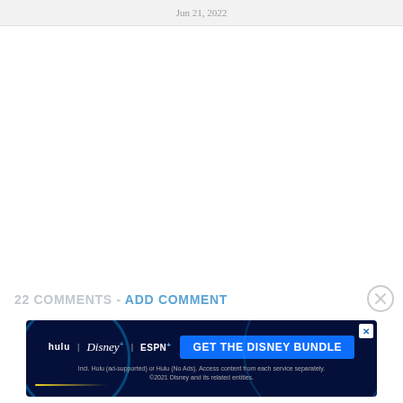Jun 21, 2022
22 COMMENTS - ADD COMMENT
[Figure (screenshot): Disney Bundle advertisement banner. Dark navy background with Hulu, Disney+, ESPN+ logos on the left, 'GET THE DISNEY BUNDLE' blue button on the right. Fine print: 'Incl. Hulu (ad-supported) or Hulu (No Ads). Access content from each service separately. ©2021 Disney and its related entities.' Close X button in top-right corner.]